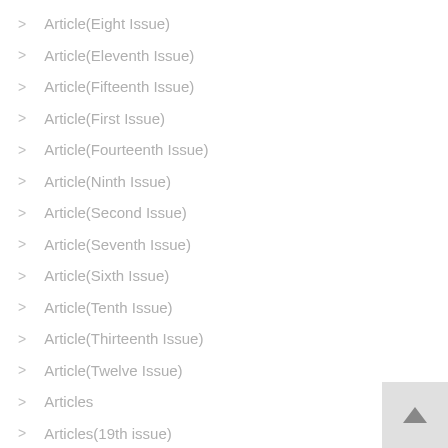Article(Eight Issue)
Article(Eleventh Issue)
Article(Fifteenth Issue)
Article(First Issue)
Article(Fourteenth Issue)
Article(Ninth Issue)
Article(Second Issue)
Article(Seventh Issue)
Article(Sixth Issue)
Article(Tenth Issue)
Article(Thirteenth Issue)
Article(Twelve Issue)
Articles
Articles(19th issue)